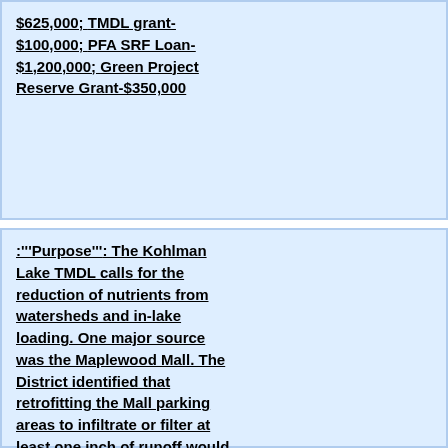&#36;625,000; TMDL grant-&#36;100,000; PFA SRF Loan-&#36;1,200,000; Green Project Reserve Grant-&#36;350,000
:'''Purpose''':  The Kohlman Lake TMDL calls for the reduction of nutrients from watersheds and in-lake loading.  One major source was the Maplewood Mall.  The District identified that retrofitting the Mall parking areas to infiltrate or filter at least one inch of runoff would result in a large reduction in phosphorus to Kohlman Creek and the lake.  BMPs include 55 rainwater gardens that filter 9 million galls of runoff, 6,733